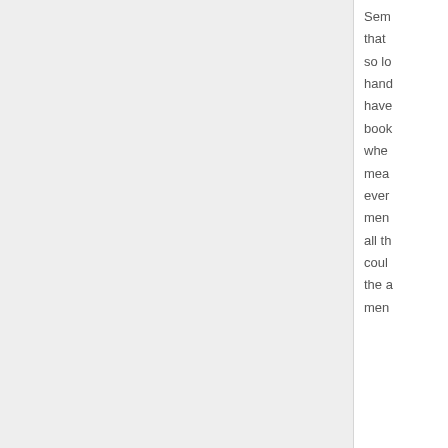Sem that so lo hand have book whe mea ever men all th coul the a men
[Figure (photo): Default user avatar placeholder image showing a silhouette of a person on a gray background]
dreamer February 10, 20...
My dear pastor/father f looking back. He has m years ago). He has nev child. We have no cont Yes, it was hard. It hu